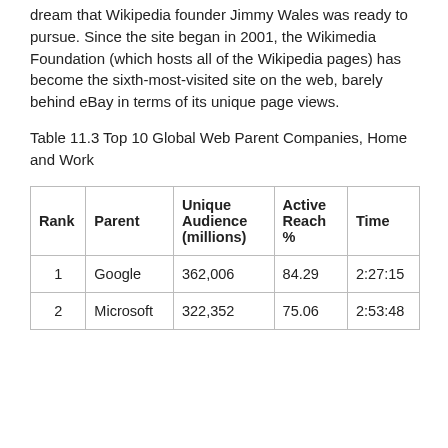dream that Wikipedia founder Jimmy Wales was ready to pursue. Since the site began in 2001, the Wikimedia Foundation (which hosts all of the Wikipedia pages) has become the sixth-most-visited site on the web, barely behind eBay in terms of its unique page views.
Table 11.3 Top 10 Global Web Parent Companies, Home and Work
| Rank | Parent | Unique Audience (millions) | Active Reach % | Time |
| --- | --- | --- | --- | --- |
| 1 | Google | 362,006 | 84.29 | 2:27:15 |
| 2 | Microsoft | 322,352 | 75.06 | 2:53:48 |